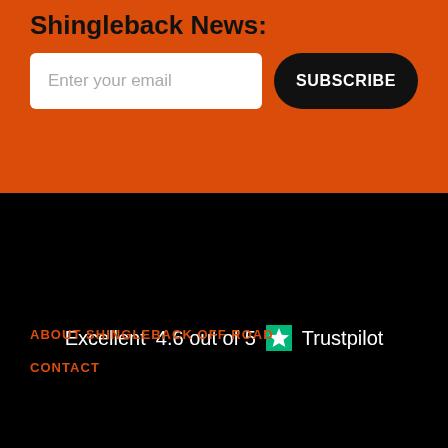Shingleback News:
[Figure (screenshot): Email subscription form with text input field placeholder 'Enter your email' and a black rounded 'SUBSCRIBE' button]
[Figure (logo): Trustpilot rating: Excellent 4.6 out of 5 with green Trustpilot star logo]
ABOUT SHINGLEBACK OFF ROAD
CONTACT